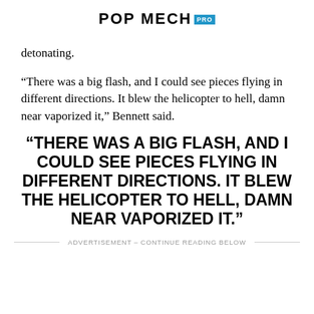POP MECH PRO
detonating.
“There was a big flash, and I could see pieces flying in different directions. It blew the helicopter to hell, damn near vaporized it,” Bennett said.
“THERE WAS A BIG FLASH, AND I COULD SEE PIECES FLYING IN DIFFERENT DIRECTIONS. IT BLEW THE HELICOPTER TO HELL, DAMN NEAR VAPORIZED IT.”
ADVERTISEMENT – CONTINUE READING BELOW